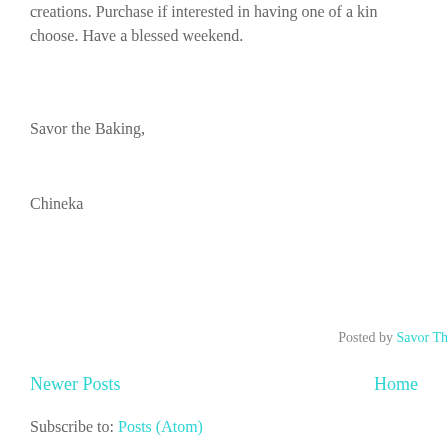creations. Purchase if interested in having one of a kind choose. Have a blessed weekend.
Savor the Baking,
Chineka
Posted by Savor Th
Newer Posts   Home
Subscribe to: Posts (Atom)